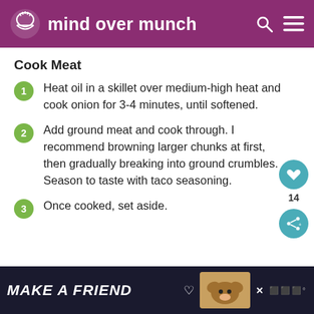mind over munch
Cook Meat
Heat oil in a skillet over medium-high heat and cook onion for 3-4 minutes, until softened.
Add ground meat and cook through. I recommend browning larger chunks at first, then gradually breaking into ground crumbles. Season to taste with taco seasoning.
Once cooked, set aside.